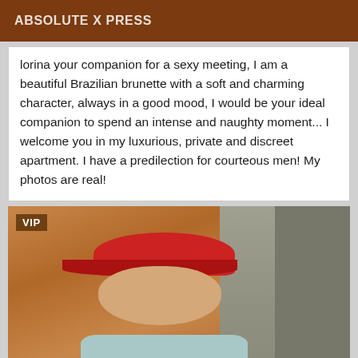ABSOLUTE X PRESS
lorina your companion for a sexy meeting, I am a beautiful Brazilian brunette with a soft and charming character, always in a good mood, I would be your ideal companion to spend an intense and naughty moment... I welcome you in my luxurious, private and discreet apartment. I have a predilection for courteous men! My photos are real!
[Figure (photo): Woman wearing a red baseball cap with NY logo and light blue top, with blonde hair and red lipstick, standing in front of a wooden wall and door. VIP label in top-left corner.]